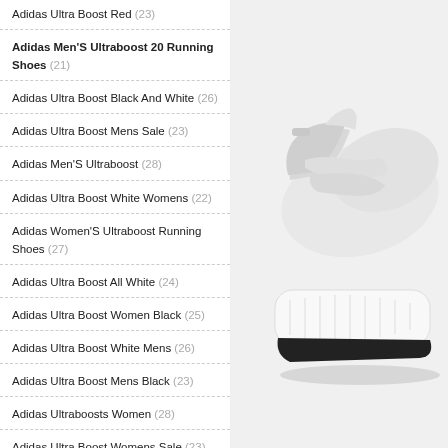Adidas Ultra Boost Red (23)
Adidas Men'S Ultraboost 20 Running Shoes (21)
Adidas Ultra Boost Black And White (26)
Adidas Ultra Boost Mens Sale (23)
Adidas Men'S Ultraboost (28)
Adidas Ultra Boost White Womens (22)
Adidas Women'S Ultraboost Running Shoes (27)
Adidas Ultra Boost All White (24)
Adidas Ultra Boost Women Black (25)
Adidas Ultra Boost White Mens (26)
Adidas Ultra Boost Mens Black (23)
Adidas Ultraboosts Women (28)
Adidas Ultra Boost Womens Sale (23)
Adidas Womens Ultra Boost 20 (27)
[Figure (photo): White Adidas Ultra Boost running shoe shown from the side, featuring a white knit upper and white Boost sole, photographed against a light grey background.]